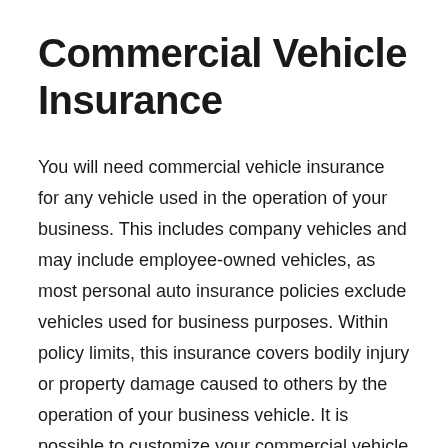Commercial Vehicle Insurance
You will need commercial vehicle insurance for any vehicle used in the operation of your business. This includes company vehicles and may include employee-owned vehicles, as most personal auto insurance policies exclude vehicles used for business purposes. Within policy limits, this insurance covers bodily injury or property damage caused to others by the operation of your business vehicle. It is possible to customize your commercial vehicle insurance policy to include other coverage, such as replacement of a vehicle damaged in an